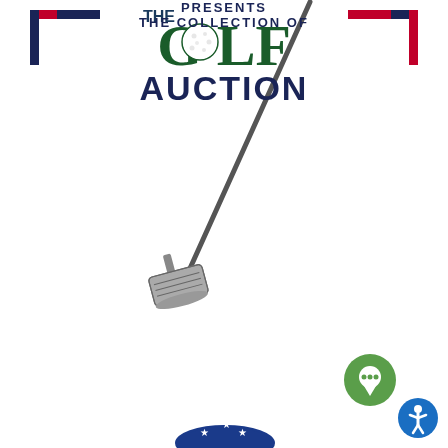[Figure (illustration): A golf iron club leaning diagonally, with the club head at the bottom left and the shaft extending to the upper right.]
[Figure (logo): Corner bracket decorations: top-left corner bracket in navy blue with red accent, top-right corner bracket in red with navy blue accent.]
THE GOLF AUCTION
PRESENTS
THE COLLECTION OF
[Figure (illustration): Partial view of a patriotic-themed object with stars and blue color at the bottom of the page.]
[Figure (logo): Green circular chat/messaging icon in the bottom right area.]
[Figure (logo): Blue circular accessibility icon in the bottom right corner.]